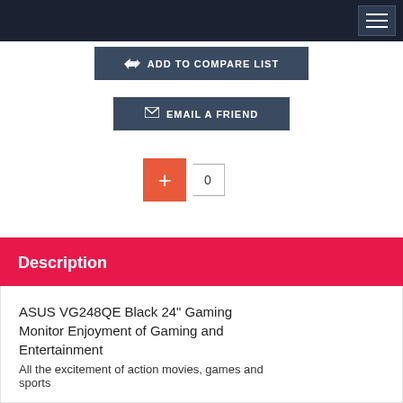Navigation bar with hamburger menu
ADD TO COMPARE LIST
EMAIL A FRIEND
[Figure (other): Plus button with counter showing 0]
Description
ASUS VG248QE Black 24" Gaming Monitor Enjoyment of Gaming and Entertainment
All the excitement of action movies, games and sports